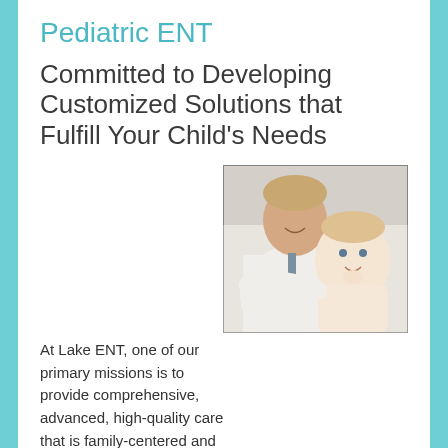Pediatric ENT
Committed to Developing Customized Solutions that Fulfill Your Child's Needs
[Figure (photo): A smiling doctor in a white coat holding a young baby with blonde hair. The baby is looking at the camera.]
At Lake ENT, one of our primary missions is to provide comprehensive, advanced, high-quality care that is family-centered and greatly improves the overall health of our pediatric patients. For nearly four decades, our certified professionals have been serving families throughout Florida with services that are tailored to the needs, goals, and desires of each and every patient. As a renowned ear, nose, throat, and facial plastic surgery clinic located in the